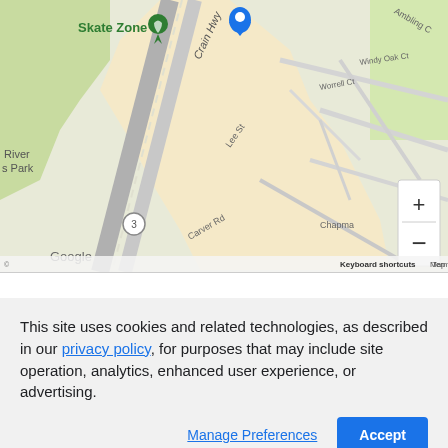[Figure (map): Google Maps screenshot showing Skate Zone location near Crain Hwy, with streets including Lee St, Carver Rd, Worrell Ct, Windy Oak Ct, Chapman area, and a blue location pin. Includes zoom +/- controls, Google logo, Keyboard shortcuts, Map data ©2022, Terms of Use.]
View larger map and directions on Google Maps
This site uses cookies and related technologies, as described in our privacy policy, for purposes that may include site operation, analytics, enhanced user experience, or advertising.
Manage Preferences
Accept